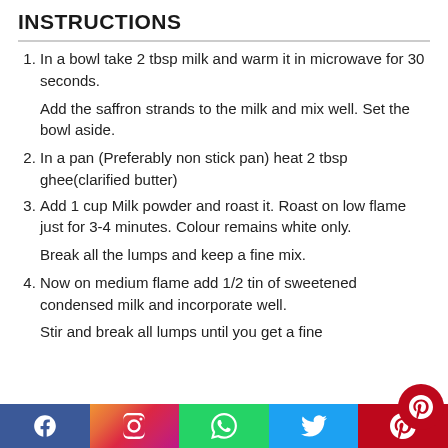INSTRUCTIONS
In a bowl take 2 tbsp milk and warm it in microwave for 30 seconds.
Add the saffron strands to the milk and mix well. Set the bowl aside.
In a pan (Preferably non stick pan) heat 2 tbsp ghee(clarified butter)
Add 1 cup Milk powder and roast it. Roast on low flame just for 3-4 minutes. Colour remains white only.
Break all the lumps and keep a fine mix.
Now on medium flame add 1/2 tin of sweetened condensed milk and incorporate well.
Stir and break all lumps until you get a fine